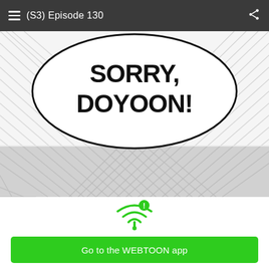(S3) Episode 130
[Figure (illustration): Webtoon comic panel showing a speech bubble with text 'SORRY, DOYOON!' over a black-and-white manga-style background with diagonal speed lines]
[Figure (illustration): Green WiFi icon with an exclamation mark warning badge]
Having trouble with slow networks?
Download stories on your phone and read offline!
Go to the WEBTOON app